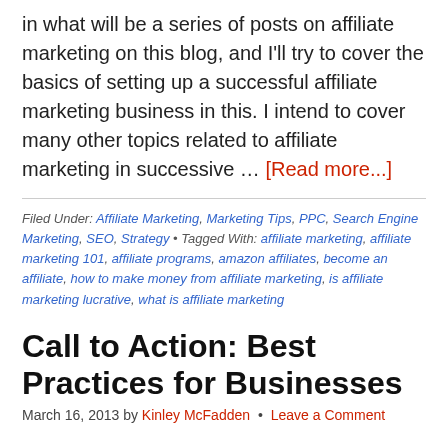in what will be a series of posts on affiliate marketing on this blog, and I'll try to cover the basics of setting up a successful affiliate marketing business in this. I intend to cover many other topics related to affiliate marketing in successive … [Read more...]
Filed Under: Affiliate Marketing, Marketing Tips, PPC, Search Engine Marketing, SEO, Strategy • Tagged With: affiliate marketing, affiliate marketing 101, affiliate programs, amazon affiliates, become an affiliate, how to make money from affiliate marketing, is affiliate marketing lucrative, what is affiliate marketing
Call to Action: Best Practices for Businesses
March 16, 2013 by Kinley McFadden • Leave a Comment